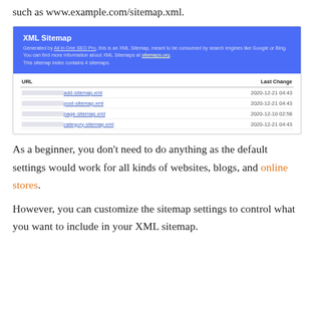such as www.example.com/sitemap.xml.
[Figure (screenshot): Screenshot of an XML Sitemap page generated by All in One SEO Pro plugin, showing a blue header with title 'XML Sitemap' and description text, followed by a table listing URLs and their Last Change dates (2020-12-21 04:43, 2020-12-21 04:43, 2020-12-10 02:58, 2020-12-21 04:43). URL columns are partially redacted.]
As a beginner, you don’t need to do anything as the default settings would work for all kinds of websites, blogs, and online stores.
However, you can customize the sitemap settings to control what you want to include in your XML sitemap.